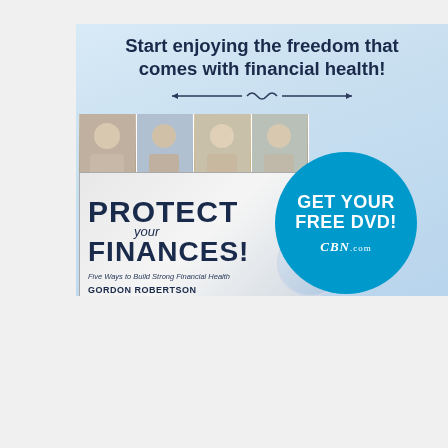[Figure (illustration): Advertisement for CBN 'Protect Your Finances' free DVD. Light blue gradient background. Headline: 'Start enjoying the freedom that comes with financial health!' with decorative divider. Book cover collage showing people photos, text 'PROTECT your FINANCES! Five Ways to Build Strong Financial Health, Gordon Robertson, The Christian Broadcasting Network'. Blue circular badge: 'GET YOUR FREE DVD! CBN.com']